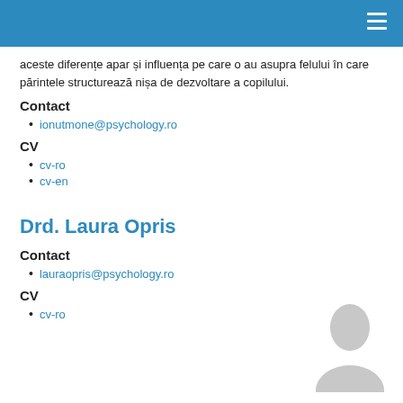aceste diferențe apar și influența pe care o au asupra felului în care părintele structurează nișa de dezvoltare a copilului.
Contact
ionutmone@psychology.ro
CV
cv-ro
cv-en
Drd. Laura Opris
Contact
lauraopris@psychology.ro
CV
cv-ro
[Figure (illustration): Placeholder silhouette of a person (grey head and shoulders profile icon)]